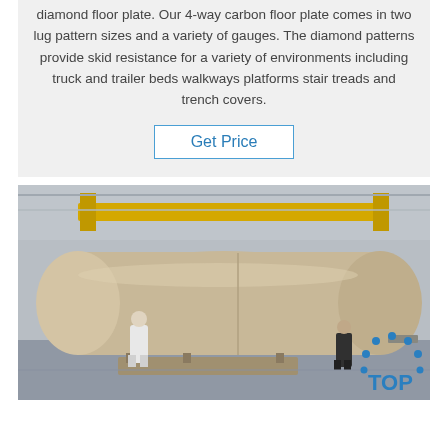diamond floor plate. Our 4-way carbon floor plate comes in two lug pattern sizes and a variety of gauges. The diamond patterns provide skid resistance for a variety of environments including truck and trailer beds walkways platforms stair treads and trench covers.
Get Price
[Figure (photo): Industrial warehouse photo showing two workers standing next to a large cylindrical metal vessel or tank on a factory floor. Yellow overhead crane visible in background.]